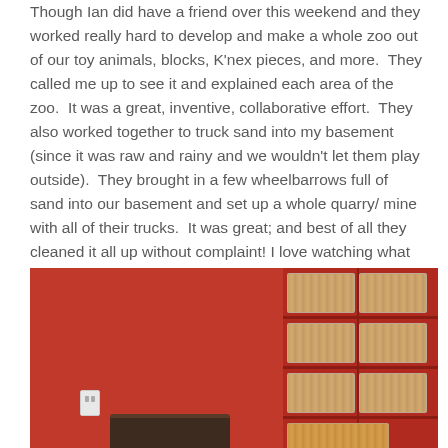Though Ian did have a friend over this weekend and they worked really hard to develop and make a whole zoo out of our toy animals, blocks, K'nex pieces, and more. They called me up to see it and explained each area of the zoo. It was a great, inventive, collaborative effort. They also worked together to truck sand into my basement (since it was raw and rainy and we wouldn't let them play outside). They brought in a few wheelbarrows full of sand into our basement and set up a whole quarry/ mine with all of their trucks. It was great; and best of all they cleaned it all up without complaint! I love watching what the boys come up with on their own. I find they often come up with the best ideas when I'm hardly paying any attention to them and they're forced to entertain themselves.
[Figure (photo): A red-walled room with toys and storage bins/shelving unit visible on the right side, showing a quarry/mine play setup in a basement.]